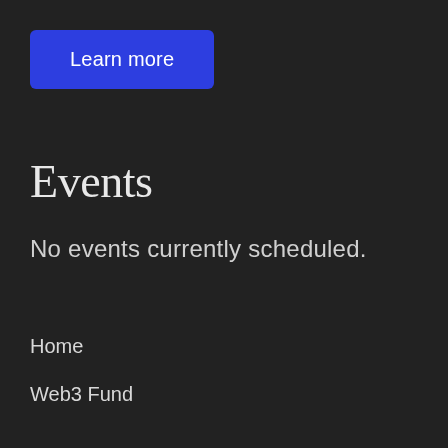Learn more
Events
No events currently scheduled.
Home
Web3 Fund